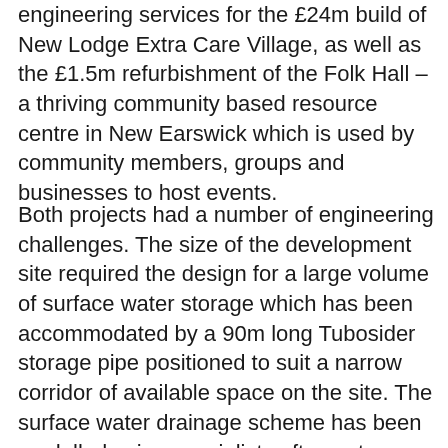Adept were appointed to carry out a full range of engineering services for the £24m build of New Lodge Extra Care Village, as well as the £1.5m refurbishment of the Folk Hall – a thriving community based resource centre in New Earswick which is used by community members, groups and businesses to host events.
Both projects had a number of engineering challenges. The size of the development site required the design for a large volume of surface water storage which has been accommodated by a 90m long Tubosider storage pipe positioned to suit a narrow corridor of available space on the site. The surface water drainage scheme has been modelled using specialist software to calculate flow rates and due to the generally flat surface of the site is then pumped to the public sewers.